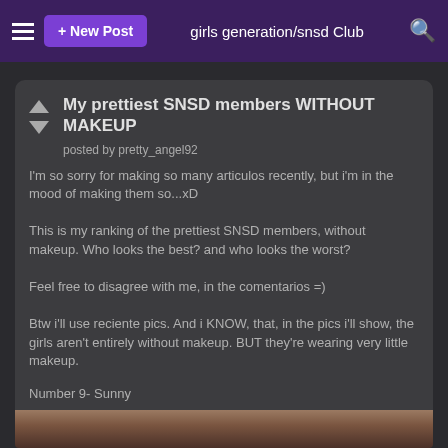+ New Post | girls generation/snsd Club
My prettiest SNSD members WITHOUT MAKEUP
posted by pretty_angel92
I'm so sorry for making so many articulos recently, but i'm in the mood of making them so...xD
This is my ranking of the prettiest SNSD members, without makeup. Who looks the best? and who looks the worst?
Feel free to disagree with me, in the comentarios =)
Btw i'll use reciente pics. And i KNOW, that, in the pics i'll show, the girls aren't entirely without makeup. BUT they're wearing very little makeup.
Number 9- Sunny
[Figure (photo): Partial photo of a person at the bottom of the page]